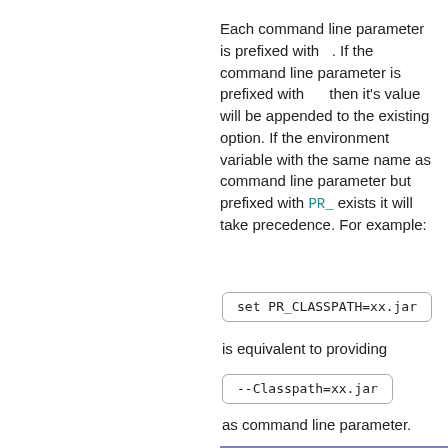Each command line parameter is prefixed with --. If the command line parameter is prefixed with ++ then it's value will be appended to the existing option. If the environment variable with the same name as command line parameter but prefixed with PR_ exists it will take precedence. For example:
is equivalent to providing
as command line parameter.
| --Description |
| --- |